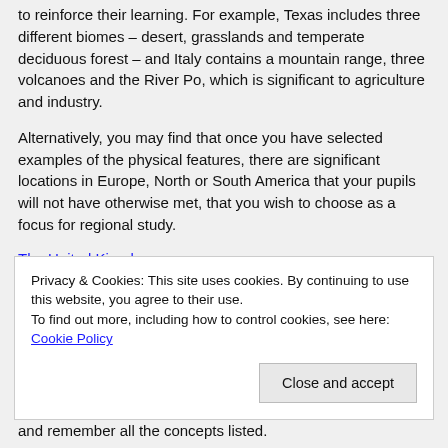to reinforce their learning. For example, Texas includes three different biomes – desert, grasslands and temperate deciduous forest – and Italy contains a mountain range, three volcanoes and the River Po, which is significant to agriculture and industry.
Alternatively, you may find that once you have selected examples of the physical features, there are significant locations in Europe, North or South America that your pupils will not have otherwise met, that you wish to choose as a focus for regional study.
The United Kingdom
You will have already selected a region of the UK to study in
Privacy & Cookies: This site uses cookies. By continuing to use this website, you agree to their use.
To find out more, including how to control cookies, see here: Cookie Policy
and remember all the concepts listed.